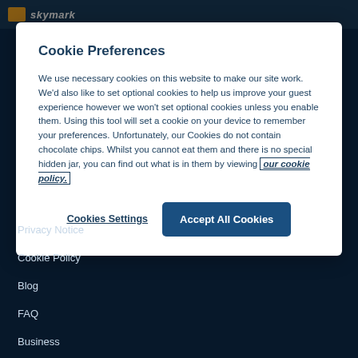[Figure (screenshot): Dark navy blue website background with header bar]
Cookie Preferences
We use necessary cookies on this website to make our site work. We'd also like to set optional cookies to help us improve your guest experience however we won't set optional cookies unless you enable them. Using this tool will set a cookie on your device to remember your preferences. Unfortunately, our Cookies do not contain chocolate chips. Whilst you cannot eat them and there is no special hidden jar, you can find out what is in them by viewing our cookie policy.
Cookies Settings
Accept All Cookies
Privacy Notice
Cookie Policy
Blog
FAQ
Business